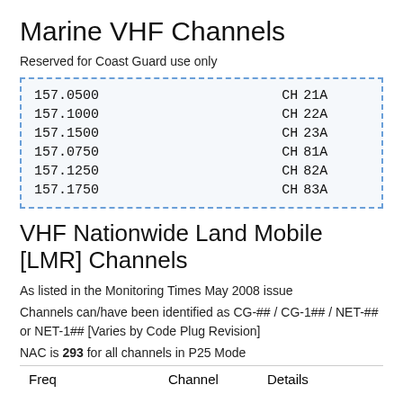Marine VHF Channels
Reserved for Coast Guard use only
| Frequency | CH | Channel |
| --- | --- | --- |
| 157.0500 | CH | 21A |
| 157.1000 | CH | 22A |
| 157.1500 | CH | 23A |
| 157.0750 | CH | 81A |
| 157.1250 | CH | 82A |
| 157.1750 | CH | 83A |
VHF Nationwide Land Mobile [LMR] Channels
As listed in the Monitoring Times May 2008 issue
Channels can/have been identified as CG-## / CG-1## / NET-## or NET-1## [Varies by Code Plug Revision]
NAC is 293 for all channels in P25 Mode
| Freq | Channel | Details |
| --- | --- | --- |